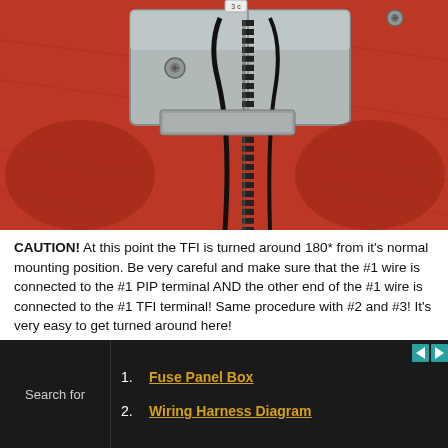[Figure (photo): Close-up photograph of a TFI (Thick Film Ignition) module mounted on a surface. The metal module has screws and black wiring/cables connected to it. The background shows red/orange textured material (leather or fabric). Wires are visible at the top of the module.]
CAUTION! At this point the TFI is turned around 180* from it's normal mounting position. Be very careful and make sure that the #1 wire is connected to the #1 PIP terminal AND the other end of the #1 wire is connected to the #1 TFI terminal! Same procedure with #2 and #3! It's very easy to get turned around here!
[Figure (photo): Partial photograph showing blue corrugated tubing/hose and dark wiring, partially visible at the bottom of the main content area.]
1. Fuse Panel Box
2. Wiring Harness Diagram